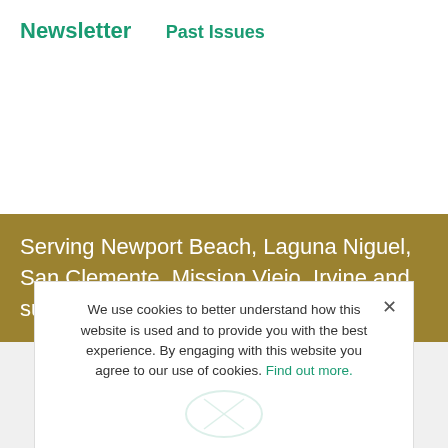Newsletter
Past Issues
Serving Newport Beach, Laguna Niguel, San Clemente, Mission Viejo, Irvine and surrounding communities
We use cookies to better understand how this website is used and to provide you with the best experience. By engaging with this website you agree to our use of cookies. Find out more.